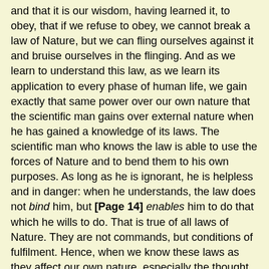and that it is our wisdom, having learned it, to obey, that if we refuse to obey, we cannot break a law of Nature, but we can fling ourselves against it and bruise ourselves in the flinging. And as we learn to understand this law, as we learn its application to every phase of human life, we gain exactly that same power over our own nature that the scientific man gains over external nature when he has gained a knowledge of its laws. The scientific man who knows the law is able to use the forces of Nature and to bend them to his own purposes. As long as he is ignorant, he is helpless and in danger: when he understands, the law does not bind him, but [Page 14] enables him to do that which he wills to do. That is true of all laws of Nature. They are not commands, but conditions of fulfilment. Hence, when we know these laws as they affect our own nature, especially the thought and desire nature, we learn then to utilise those great forces for the building of our own character; we learn how, with scientific certainty, we can build up virtue and eradicate vice; and that there is no more chance, no more accident, in these obscurer regions of our nature, than there is chance or accident in the outer world where the rule of law is everywhere admitted. Hence in these two great teachings of reincarnation as method of evolution, and of law as means of evolution, with those as the foundation of our philosophy, we are able to guide and shape our lives. We find them answering those great problems to which I alluded. We find